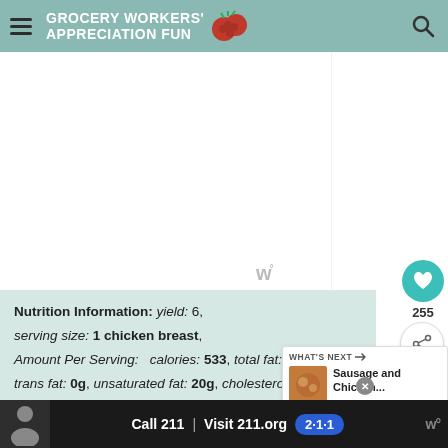GROCERY WORKERS APPRECIATION FUN[D]
[Figure (screenshot): White rectangular ad/content area placeholder with watermark W logo]
Nutrition Information: yield: 6, serving size: 1 chicken breast, Amount Per Serving: calories: 533, total fat: 28g, saturated fat: [?], trans fat: 0g, unsaturated fat: 20g, cholesterol: 146mg, sodium: [360mg], carbohydrates: 7g, fiber: 0g, sugar: 3g, protein: 53g
[Figure (screenshot): What's Next panel showing Sausage and Chicken... recipe thumbnail]
[Figure (screenshot): Bottom advertisement banner: Call 211 | Visit 211.org with 2-1-1 badge]